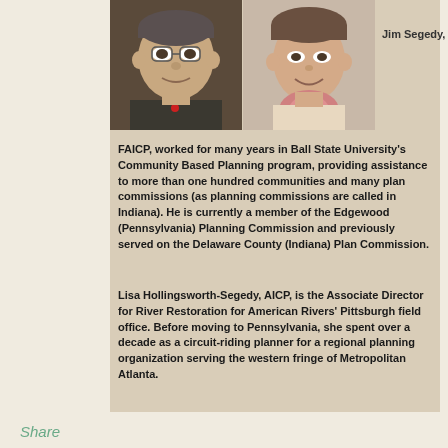[Figure (photo): Two portrait photos side by side: a man on the left and a woman on the right, shown from shoulders up]
Jim Segedy,
FAICP, worked for many years in Ball State University's Community Based Planning program, providing assistance to more than one hundred communities and many plan commissions (as planning commissions are called in Indiana). He is currently a member of the Edgewood (Pennsylvania) Planning Commission and previously served on the Delaware County (Indiana) Plan Commission.
Lisa Hollingsworth-Segedy, AICP, is the Associate Director for River Restoration for American Rivers' Pittsburgh field office. Before moving to Pennsylvania, she spent over a decade as a circuit-riding planner for a regional planning organization serving the western fringe of Metropolitan Atlanta.
Share